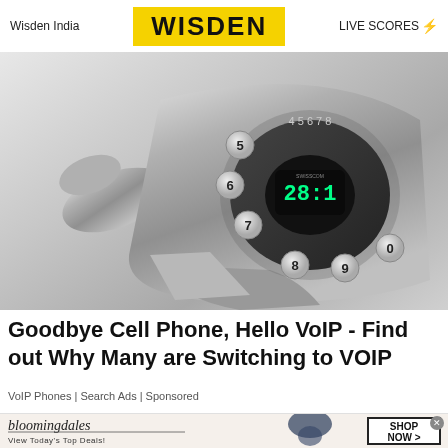Wisden India | WISDEN | LIVE SCORES
[Figure (photo): A modern retro-styled silver VoIP/cordless telephone with rotary-dial-inspired design, sitting on a base, with numeric buttons arranged in a circular pattern and a digital display screen in the center.]
Goodbye Cell Phone, Hello VoIP - Find out Why Many are Switching to VOIP
VoIP Phones | Search Ads | Sponsored
[Figure (photo): Bloomingdale's advertisement banner showing logo, tagline 'View Today's Top Deals!', a woman in a wide-brim blue hat, and a 'SHOP NOW >' button.]